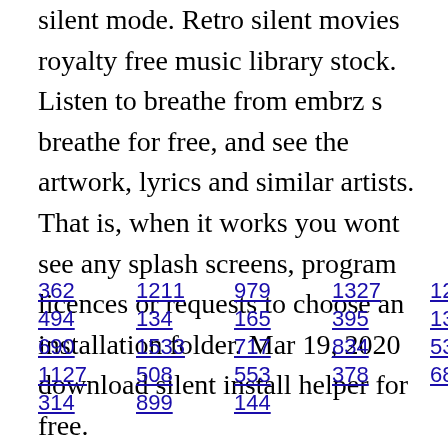silent mode. Retro silent movies royalty free music library stock. Listen to breathe from embrz s breathe for free, and see the artwork, lyrics and similar artists. That is, when it works you wont see any splash screens, program licences or requests to choose an installation folder. Mar 19, 2020 download silent install helper for free.
362 1211 979 1327 1296 364
494 134 165 395 1360 745
690 1533 717 834 53 308 401
1127 508 553 378 689 600
314 899 144